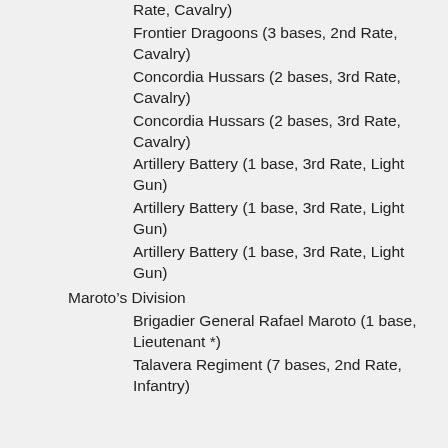Rate, Cavalry)
Frontier Dragoons (3 bases, 2nd Rate, Cavalry)
Concordia Hussars (2 bases, 3rd Rate, Cavalry)
Concordia Hussars (2 bases, 3rd Rate, Cavalry)
Artillery Battery (1 base, 3rd Rate, Light Gun)
Artillery Battery (1 base, 3rd Rate, Light Gun)
Artillery Battery (1 base, 3rd Rate, Light Gun)
Maroto’s Division
Brigadier General Rafael Maroto (1 base, Lieutenant *)
Talavera Regiment (7 bases, 2nd Rate, Infantry)